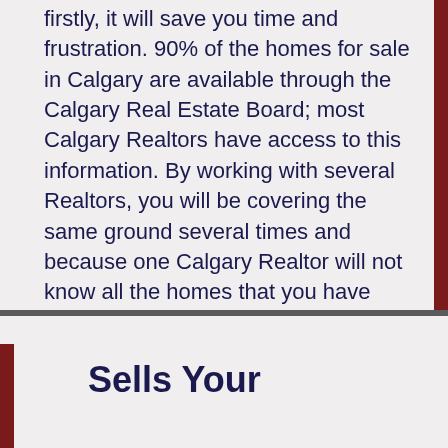firstly, it will save you time and frustration. 90% of the homes for sale in Calgary are available through the Calgary Real Estate Board; most Calgary Realtors have access to this information. By working with several Realtors, you will be covering the same ground several times and because one Calgary Realtor will not know all the homes that you have seen, you will have multiple appointments at the same properties. The second benefit to showing loyalty to one Realtor is that your Calgary Realtor will begin to know your personal style and tastes and will then be qualified to sort out homes that will not interest you.
Sells Your